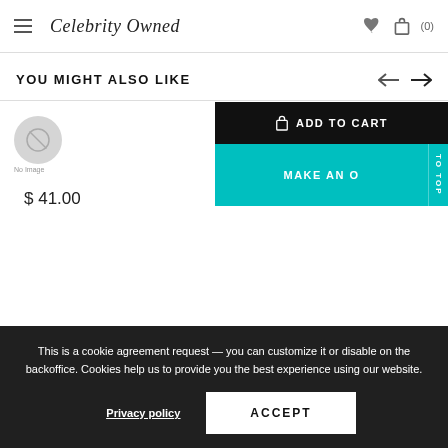Celebrity Owned — navigation header with hamburger menu, logo, wishlist and cart icons
YOU MIGHT ALSO LIKE
[Figure (screenshot): Product card showing No Image placeholder with price $41.00]
[Figure (screenshot): Add to Cart button (black) and Make an Offer button (teal) with To Top vertical tab]
This is a cookie agreement request — you can customize it or disable on the backoffice. Cookies help us to provide you the best experience using our website.
Privacy policy
ACCEPT